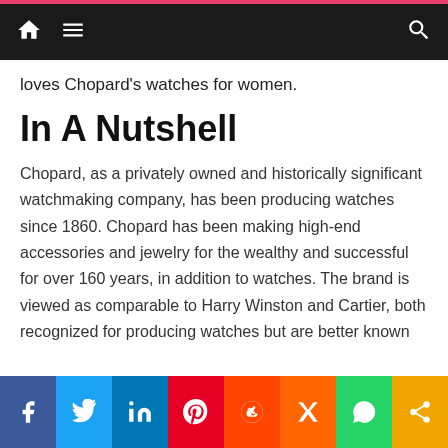Navigation bar with home, menu, and search icons
loves Chopard's watches for women.
In A Nutshell
Chopard, as a privately owned and historically significant watchmaking company, has been producing watches since 1860. Chopard has been making high-end accessories and jewelry for the wealthy and successful for over 160 years, in addition to watches. The brand is viewed as comparable to Harry Winston and Cartier, both recognized for producing watches but are better known for their lovely jewels. Their timepieces have also been used in big Hollywood films such as 6 Underground, which has helped them propel.
Social share bar: Facebook, Twitter, LinkedIn, Pinterest, Reddit, Mix, WhatsApp, Share